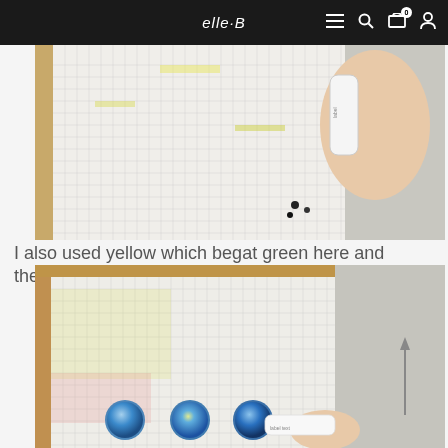elle-b (logo) navigation bar
[Figure (photo): A hand holding a small tube/bottle over a white plastic tray with a grid pattern, with some yellow and green coloring visible on the grid. Small dark objects (marbles?) are scattered in the lower right of the tray. The background is grey.]
I also used yellow which begat green here and there.
[Figure (photo): A white plastic grid tray on a wooden surface with yellow and pink/red traces on the grid. Three blue marbles (glass cabochons with blue abstract patterns) are placed at the bottom of the tray. A hand holds a small white tube/bottle. An upward-pointing arrow is visible on the right side. Background is grey.]